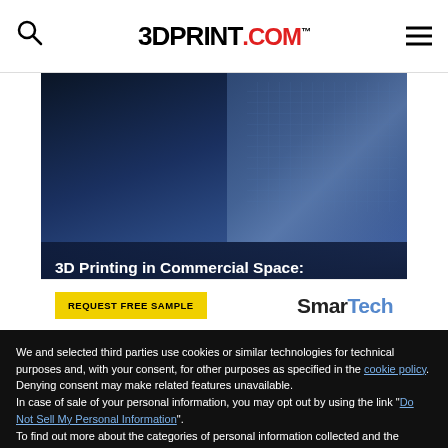3DPrint.com
[Figure (photo): 3D Printing in Commercial Space: Ecosystem and Forecasts for the Private Space Sector — SmarTech advertising banner with blue space imagery and a 'Request Free Sample' button]
We and selected third parties use cookies or similar technologies for technical purposes and, with your consent, for other purposes as specified in the cookie policy. Denying consent may make related features unavailable.
In case of sale of your personal information, you may opt out by using the link "Do Not Sell My Personal Information".
To find out more about the categories of personal information collected and the purposes for which such information will be used, please refer to our privacy policy. You can consent to the use of such technologies by using the "Accept" button, by scrolling this page, by interacting with any link or button outside of this notice or by continuing to browse otherwise.
Reject
Accept
Learn more and customize